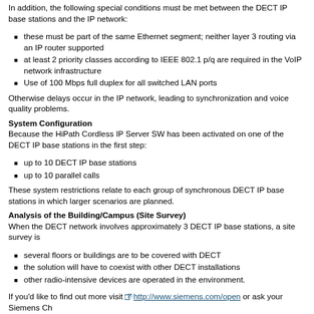In addition, the following special conditions must be met between the DECT IP base stations and the IP network:
these must be part of the same Ethernet segment; neither layer 3 routing via an IP router nor VLANs supported
at least 2 priority classes according to IEEE 802.1 p/q are required in the VoIP network infrastructure
Use of 100 Mbps full duplex for all switched LAN ports
Otherwise delays occur in the IP network, leading to synchronization and voice quality problems.
System Configuration
Because the HiPath Cordless IP Server SW has been activated on one of the DECT IP base stations in the first step:
up to 10 DECT IP base stations
up to 10 parallel calls
These system restrictions relate to each group of synchronous DECT IP base stations in which larger scenarios are planned.
Analysis of the Building/Campus (Site Survey)
When the DECT network involves approximately 3 DECT IP base stations, a site survey is
several floors or buildings are to be covered with DECT
the solution will have to coexist with other DECT installations
other radio-intensive devices are operated in the environment.
If you'd like to find out more visit http://www.siemens.com/open or ask your Siemens Ch
Documentation and Training